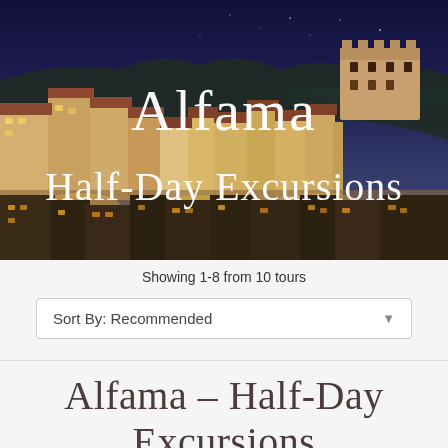[Figure (photo): Aerial night view of Alfama district in Lisbon, Portugal, showing densely packed buildings with terracotta rooftops, illuminated streets, and a castle or cathedral in the upper right, with a dark blue night sky and city lights in the background.]
Alfama Half-Day Excursions
Showing 1-8 from 10 tours
Sort By: Recommended
Alfama – Half-Day Excursions